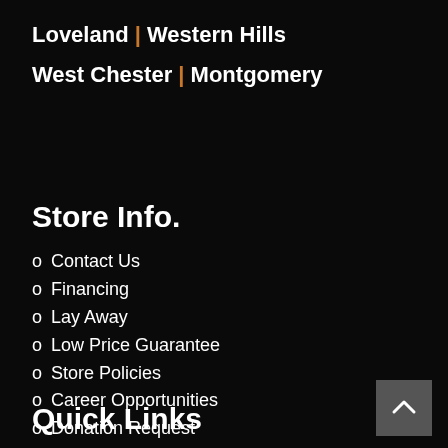Loveland | Western Hills
West Chester | Montgomery
Store Info.
o Contact Us
o Financing
o Lay Away
o Low Price Guarantee
o Store Policies
o Career Opportunities
o Donation Request
Quick Links